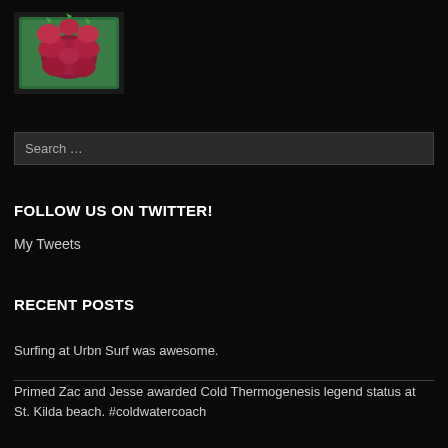[Figure (photo): Red/pink dragon fruit or flowers in a green basket tray, viewed from above]
Search …
FOLLOW US ON TWITTER!
My Tweets
RECENT POSTS
Surfing at Urbn Surf was awesome.
Primed Zac and Jesse awarded Cold Thermogenesis legend status at St. Kilda beach. #coldwatercoach